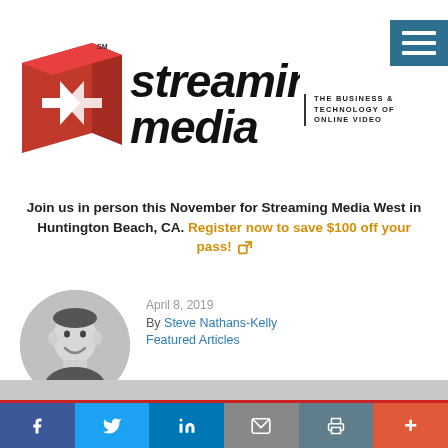[Figure (logo): Streaming Media logo — red 3D arrow icon with 'streaming media' in bold italic black text, SM superscript, and tagline 'THE BUSINESS & TECHNOLOGY OF ONLINE VIDEO']
Join us in person this November for Streaming Media West in Huntington Beach, CA. Register now to save $100 off your pass!
April 8, 2019
By Steve Nathans-Kelly
Featured Articles
[Figure (photo): Circular black and white headshot photo of Steve Nathans-Kelly, smiling man]
f  t  in  [email icon]  [print icon]  +